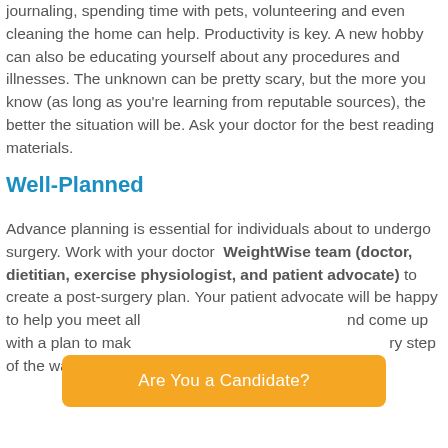journaling, spending time with pets, volunteering and even cleaning the home can help. Productivity is key. A new hobby can also be educating yourself about any procedures and illnesses. The unknown can be pretty scary, but the more you know (as long as you're learning from reputable sources), the better the situation will be. Ask your doctor for the best reading materials.
Well-Planned
Advance planning is essential for individuals about to undergo surgery. Work with your doctor WeightWise team (doctor, dietitian, exercise physiologist, and patient advocate) to create a post-surgery plan. Your patient advocate will be happy to help you meet all [covered by button] and come up with a plan to make [covered by button] every step of the way.
[Figure (other): Orange rounded rectangle button with white text reading 'Are You a Candidate?']